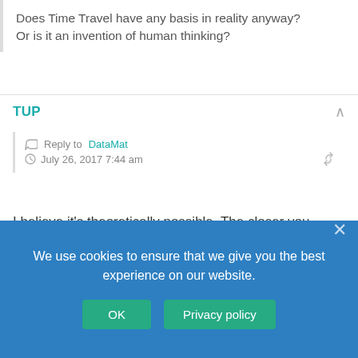Does Time Travel have any basis in reality anyway? Or is it an invention of human thinking?
TUP
Reply to DataMat
July 26, 2017 7:44 am
I believe it's theoretically possible. The closer you travel to the speed of light, the slower time moves for those travelling. So you go out into a space ship at very fast speed and travel for 10 years, return to Earth 10 years older but on earth 100 years has passed.
Or something like that. So technically, you could go to the future, but never come back. lol
Star Trek did make it too easy to time travel. I liked the idea to ensure that we gave you the best acknowledgement of why easy time travel became
We use cookies to ensure that we give you the best experience on our website.
OK    Privacy policy